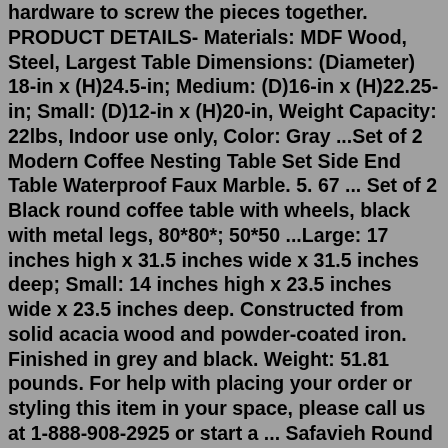hardware to screw the pieces together. PRODUCT DETAILS- Materials: MDF Wood, Steel, Largest Table Dimensions: (Diameter) 18-in x (H)24.5-in; Medium: (D)16-in x (H)22.25-in; Small: (D)12-in x (H)20-in, Weight Capacity: 22lbs, Indoor use only, Color: Gray ...Set of 2 Modern Coffee Nesting Table Set Side End Table Waterproof Faux Marble. 5. 67 ... Set of 2 Black round coffee table with wheels, black with metal legs, 80*80*; 50*50 ...Large: 17 inches high x 31.5 inches wide x 31.5 inches deep; Small: 14 inches high x 23.5 inches wide x 23.5 inches deep. Constructed from solid acacia wood and powder-coated iron. Finished in grey and black. Weight: 51.81 pounds. For help with placing your order or styling this item in your space, please call us at 1-888-908-2925 or start a ... Safavieh Round Black Coffee Table $100 (nyc > Bushwick, Brooklyn) pic hide this posting restore restore this posting. $126. favorite this post Jul 1 kevinplus Wood Side Table Round Small Coffee Tables Nesting End Table $126 (nyc > queens) pic hide this posting restore restore this posting. $0.Lippa